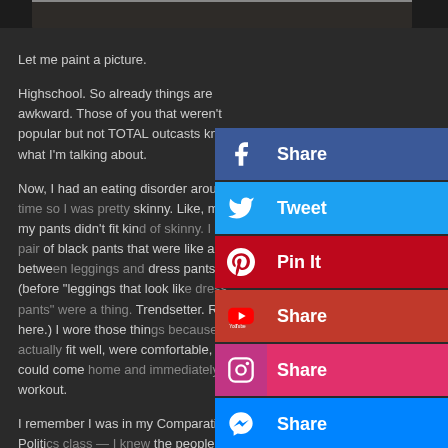[Figure (photo): Partial image strip at top of page, dark toned photo]
Let me paint a picture.
Highschool. So already things are awkward. Those of you that weren't popular but not TOTAL outcasts know what I'm talking about.
Now, I had an eating disorder around this time so I was pretty skinny. Like, most of my pants didn't fit kind of skinny. I had a pair of black pants that were like a cross between leggings and dress pants (before "leggings that look like dress pants" were a thing. Trendsetter. Right here.) I wore those things because they actually fit well, were comfortable, and I could come home and immediately workout.
I remember I was in my Comparative Politics class — I knew the people here AND the guy I had a major crush on was in this class. Obviously I had to play it cool. (hahahaha)
[Figure (infographic): Social share button panel with Facebook Share, Tweet, Pin It, YouTube Share, Instagram Share, and Messenger Share buttons]